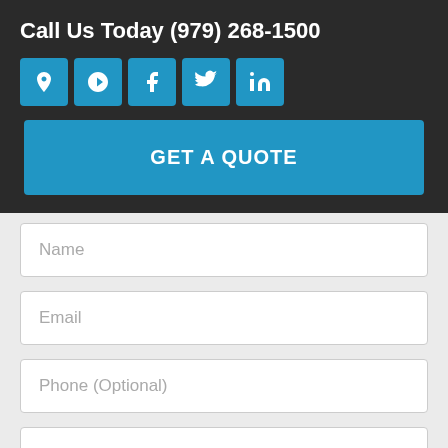Call Us Today (979) 268-1500
[Figure (infographic): Row of 5 social media icon buttons: location pin, Yelp, Facebook, Twitter, LinkedIn — all in blue square buttons]
GET A QUOTE
Name
Email
Phone (Optional)
Type of Insurance